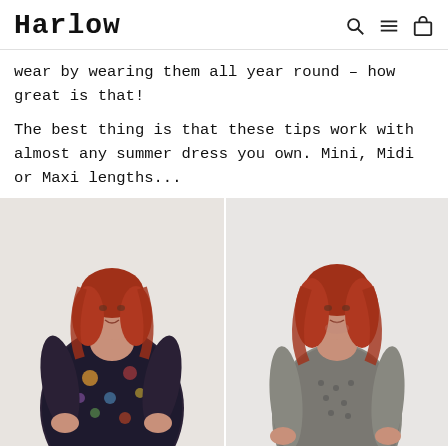Harlow
wear by wearing them all year round – how great is that!
The best thing is that these tips work with almost any summer dress you own. Mini, Midi or Maxi lengths...
[Figure (photo): Plus-size model wearing a colorful floral long-sleeve dress, posing with hands on hips, white background]
[Figure (photo): Plus-size model wearing a grey/black patterned long-sleeve shirt dress, standing with arms at sides, white background]